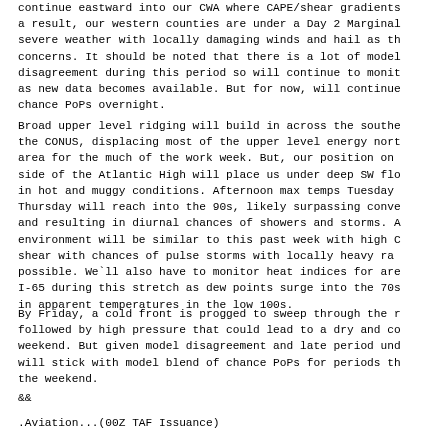continue eastward into our CWA where CAPE/shear gradients a result, our western counties are under a Day 2 Marginal severe weather with locally damaging winds and hail as th concerns. It should be noted that there is a lot of model disagreement during this period so will continue to monit as new data becomes available. But for now, will continue chance PoPs overnight.
Broad upper level ridging will build in across the southe the CONUS, displacing most of the upper level energy nort area for the much of the work week. But, our position on side of the Atlantic High will place us under deep SW flo in hot and muggy conditions. Afternoon max temps Tuesday Thursday will reach into the 90s, likely surpassing conve and resulting in diurnal chances of showers and storms. A environment will be similar to this past week with high C shear with chances of pulse storms with locally heavy ra possible. We`ll also have to monitor heat indices for are I-65 during this stretch as dew points surge into the 70s in apparent temperatures in the low 100s.
By Friday, a cold front is progged to sweep through the r followed by high pressure that could lead to a dry and co weekend. But given model disagreement and late period und will stick with model blend of chance PoPs for periods th the weekend.
&&
.Aviation...(00Z TAF Issuance)